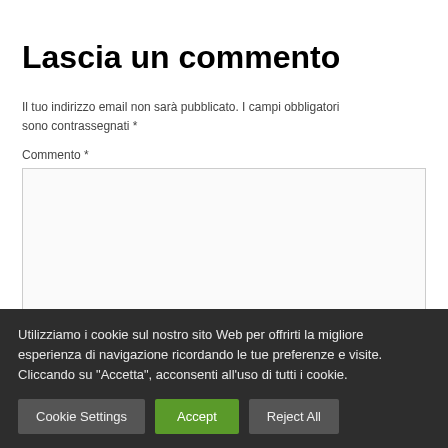Lascia un commento
Il tuo indirizzo email non sarà pubblicato. I campi obbligatori sono contrassegnati *
Commento *
Utilizziamo i cookie sul nostro sito Web per offrirti la migliore esperienza di navigazione ricordando le tue preferenze e visite. Cliccando su "Accetta", acconsenti all'uso di tutti i cookie.
Cookie Settings | Accept | Reject All